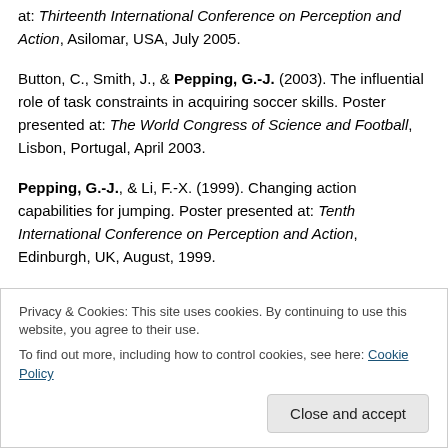at: Thirteenth International Conference on Perception and Action, Asilomar, USA, July 2005.
Button, C., Smith, J., & Pepping, G.-J. (2003). The influential role of task constraints in acquiring soccer skills. Poster presented at: The World Congress of Science and Football, Lisbon, Portugal, April 2003.
Pepping, G.-J., & Li, F.-X. (1999). Changing action capabilities for jumping. Poster presented at: Tenth International Conference on Perception and Action, Edinburgh, UK, August, 1999.
Privacy & Cookies: This site uses cookies. By continuing to use this website, you agree to their use. To find out more, including how to control cookies, see here: Cookie Policy